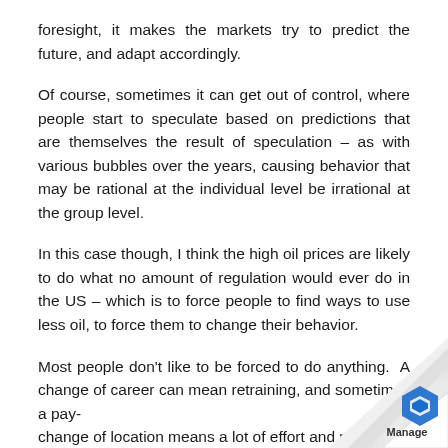foresight, it makes the markets try to predict the future, and adapt accordingly.
Of course, sometimes it can get out of control, where people start to speculate based on predictions that are themselves the result of speculation – as with various bubbles over the years, causing behavior that may be rational at the individual level be irrational at the group level.
In this case though, I think the high oil prices are likely to do what no amount of regulation would ever do in the US – which is to force people to find ways to use less oil, to force them to change their behavior.
Most people don't like to be forced to do anything. A change of career can mean retraining, and sometimes a pay- change of location means a lot of effort and money your stuff, not to mention waving goodbye to your circle (something I'm painfully familiar with). A ch
[Figure (logo): Page curl effect in bottom-right corner with a blue hexagonal logo icon and the word 'Manage' below it]